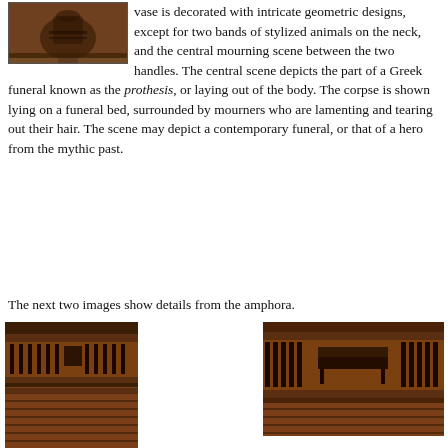[Figure (photo): Ancient Greek amphora/vase displayed on a stand, photographed in a museum setting. The vase is dark with geometric decorations.]
vase is decorated with intricate geometric designs, except for two bands of stylized animals on the neck, and the central mourning scene between the two handles. The central scene depicts the part of a Greek funeral known as the prothesis, or laying out of the body. The corpse is shown lying on a funeral bed, surrounded by mourners who are lamenting and tearing out their hair. The scene may depict a contemporary funeral, or that of a hero from the mythic past.
The next two images show details from the amphora.
[Figure (photo): Close-up detail of the amphora showing decorative bands with stylized human mourning figures and geometric patterns in dark paint on terracotta background.]
[Figure (photo): Close-up detail of the amphora showing the central mourning/prothesis scene with figures surrounding a funeral bier, painted in dark silhouette style on terracotta.]